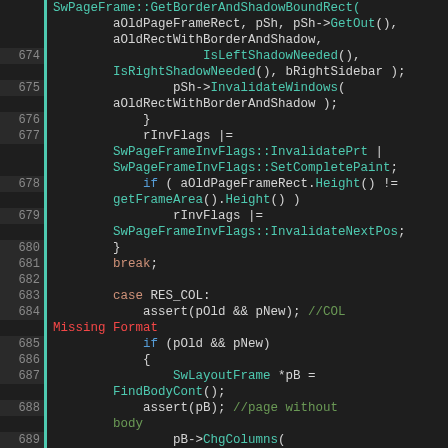Source code listing lines 674-692, C++ code for SwPageFrame invalidation logic
[Figure (screenshot): Code editor screenshot showing C++ source code with syntax highlighting. Lines 674-692 showing SwPageFrame methods, invalidation flags, border/shadow handling, column changes, and related logic.]